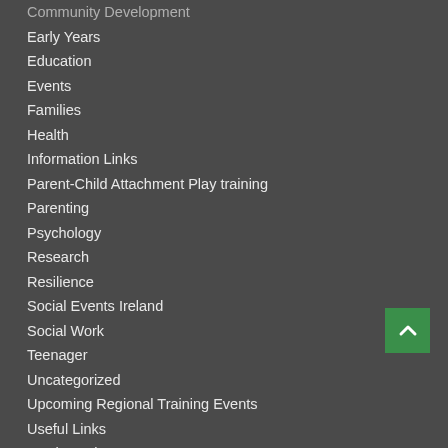Community Development
Early Years
Education
Events
Families
Health
Information Links
Parent-Child Attachment Play training
Parenting
Psychology
Research
Resilience
Social Events Ireland
Social Work
Teenager
Uncategorized
Upcoming Regional Training Events
Useful Links
Youth Justice